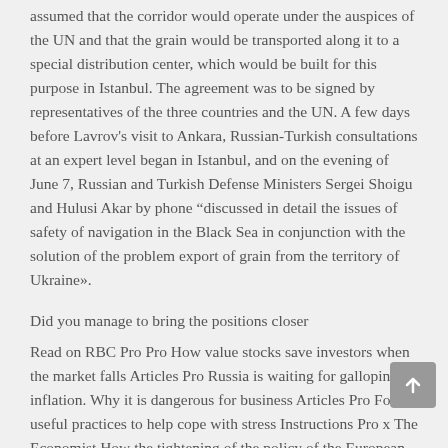assumed that the corridor would operate under the auspices of the UN and that the grain would be transported along it to a special distribution center, which would be built for this purpose in Istanbul. The agreement was to be signed by representatives of the three countries and the UN. A few days before Lavrov's visit to Ankara, Russian-Turkish consultations at an expert level began in Istanbul, and on the evening of June 7, Russian and Turkish Defense Ministers Sergei Shoigu and Hulusi Akar by phone “discussed in detail the issues of safety of navigation in the Black Sea in conjunction with the solution of the problem export of grain from the territory of Ukraine».
Did you manage to bring the positions closer
Read on RBC Pro Pro How value stocks save investors when the market falls Articles Pro Russia is waiting for galloping inflation. Why it is dangerous for business Articles Pro Four useful practices to help cope with stress Instructions Pro x The Economist How the tightening of the policy of the European Central Bank threatens the economy of Italy Articles Pro To the regions... for savings: what will happen